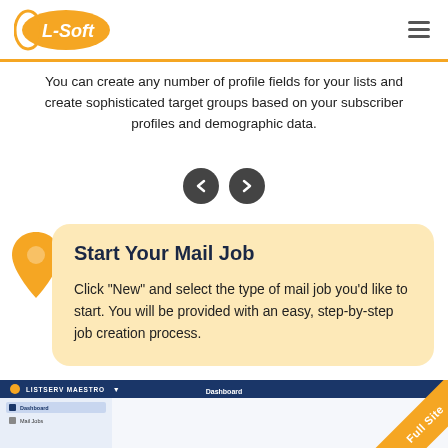L-Soft logo and navigation
You can create any number of profile fields for your lists and create sophisticated target groups based on your subscriber profiles and demographic data.
[Figure (infographic): Left and right navigation arrow buttons (dark circle buttons with chevron icons)]
[Figure (infographic): Orange location pin icon on the left side of the card]
Start Your Mail Job
Click "New" and select the type of mail job you'd like to start. You will be provided with an easy, step-by-step job creation process.
[Figure (screenshot): Screenshot strip showing LISTSERV MAESTRO dashboard interface with sidebar navigation and main content area. A 'Full Site' diagonal banner in orange is overlaid on the bottom right corner.]